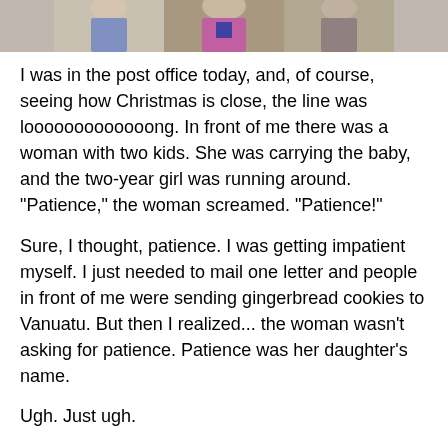[Figure (photo): Partial photo of people, cropped at top of page]
I was in the post office today, and, of course, seeing how Christmas is close, the line was looooooooooooong. In front of me there was a woman with two kids. She was carrying the baby, and the two-year girl was running around. "Patience," the woman screamed. "Patience!"
Sure, I thought, patience. I was getting impatient myself. I just needed to mail one letter and people in front of me were sending gingerbread cookies to Vanuatu. But then I realized... the woman wasn't asking for patience. Patience was her daughter's name.
Ugh. Just ugh.
We discussed the goyim's inability to come up with first names in the Robert Downey Jr. profile, but the lack of creativity we talk about there is just one end of the spectrum. On the other, there is the supposed creativity. Witness Sarah Palin's Track, Bristol, Willow, Piper and Trig. Patience is up